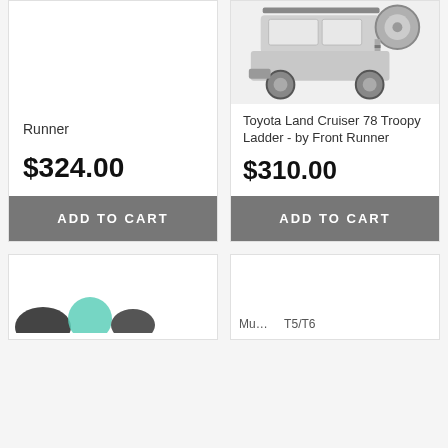Runner
$324.00
ADD TO CART
[Figure (photo): Rear view of a Toyota Land Cruiser 78 Troopy with roof rack ladder attachment, shown in grayscale]
Toyota Land Cruiser 78 Troopy Ladder - by Front Runner
$310.00
ADD TO CART
[Figure (photo): Partial view of product image at bottom left, showing dark rounded shapes]
Mu... T5/T6